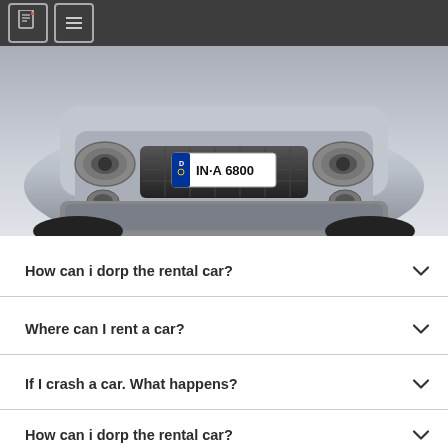[Figure (screenshot): Dark navigation bar with two icon buttons (document and menu icons) on a dark grey background]
[Figure (photo): Front view of a silver Audi car with German license plate IN-A 6800, cropped to show the front bumper, headlights, and grille against a grey gradient background]
How can i dorp the rental car?
Where can I rent a car?
If I crash a car. What happens?
How can i dorp the rental car?
Where can I rent a car?